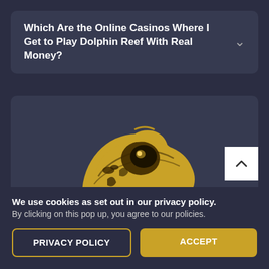Which Are the Online Casinos Where I Get to Play Dolphin Reef With Real Money?
[Figure (illustration): Golden/yellow T-Rex dinosaur head with open mouth showing teeth, illustrated logo style on dark background]
We use cookies as set out in our privacy policy. By clicking on this pop up, you agree to our policies.
PRIVACY POLICY
ACCEPT